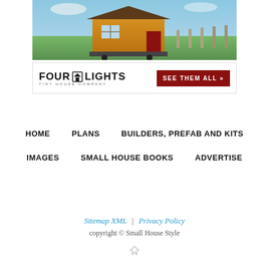[Figure (photo): Four Lights Tiny House Company advertisement banner showing a small wooden house on wheels in a rural field with a red door, blue sky and green grass backdrop. Below the photo: 'FOUR LIGHTS TINY HOUSE COMPANY' brand name with a house icon and red 'SEE THEM ALL >>' call-to-action button.]
HOME
PLANS
BUILDERS, PREFAB AND KITS
IMAGES
SMALL HOUSE BOOKS
ADVERTISE
Sitemap XML | Privacy Policy
copyright © Small House Style